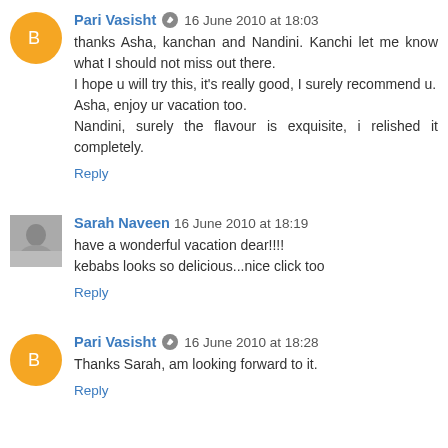Pari Vasisht · 16 June 2010 at 18:03
thanks Asha, kanchan and Nandini. Kanchi let me know what I should not miss out there.
I hope u will try this, it's really good, I surely recommend u.
Asha, enjoy ur vacation too.
Nandini, surely the flavour is exquisite, i relished it completely.
Reply
Sarah Naveen 16 June 2010 at 18:19
have a wonderful vacation dear!!!!
kebabs looks so delicious...nice click too
Reply
Pari Vasisht · 16 June 2010 at 18:28
Thanks Sarah, am looking forward to it.
Reply